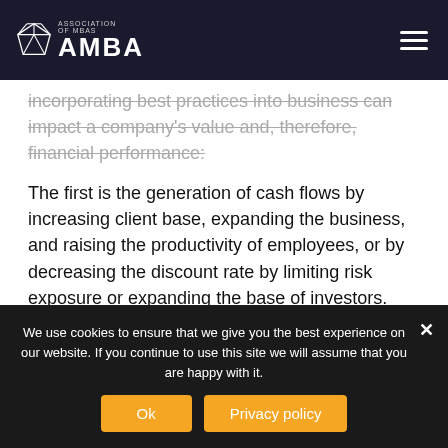Association of MBAs
incorporating best practices into business can impact a company's value and, therefore, financial performance:
The first is the generation of cash flows by increasing client base, expanding the business, and raising the productivity of employees, or by decreasing the discount rate by limiting risk exposure or expanding the base of investors.
The second involves considering
We use cookies to ensure that we give you the best experience on our website. If you continue to use this site we will assume that you are happy with it.